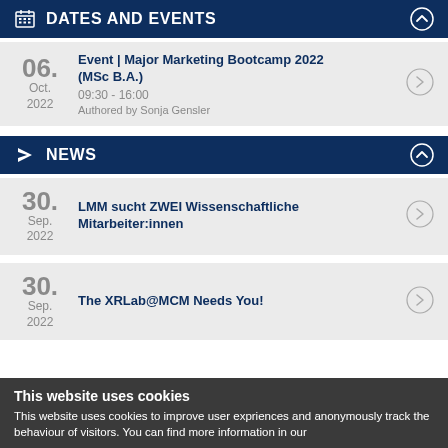DATES AND EVENTS
06. Oct. 2022 | Event | Major Marketing Bootcamp 2022 (MSc B.A.) | 09:30 - 16:00 | Authored by Sonja Gensler
NEWS
30. Sep. 2022 | LMM sucht ZWEI Wissenschaftliche Mitarbeiter:innen
30. Sep. 2022 | The XRLab@MCM Needs You!
This website uses cookies
This website uses cookies to improve user expriences and anonymously track the behaviour of visitors. You can find more information in our